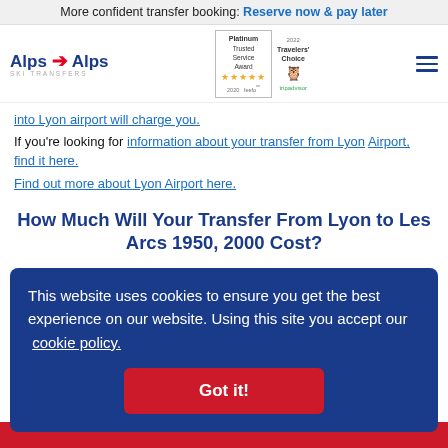More confident transfer booking: Reserve now & pay later
[Figure (logo): Alps 2 Alps Ski Transfers logo with Platinum Trusted Service Award feefo badge and Tripadvisor Travelers Choice badge]
into Lyon airport will charge you.
If you're looking for information about your transfer from Lyon Airport, find it here.
Find out more about Lyon Airport here.
How Much Will Your Transfer From Lyon to Les Arcs 1950, 2000 Cost?
This website uses cookies to ensure you get the best experience on our website. Using this site you accept our cookie policy.
Got it!